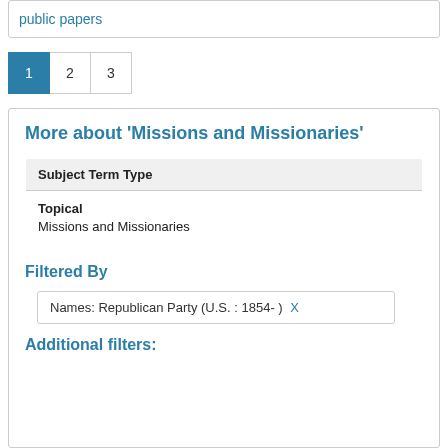public papers
1
2
3
More about 'Missions and Missionaries'
| Subject Term Type |
| --- |
| Topical
Missions and Missionaries |
Filtered By
Names: Republican Party (U.S. : 1854- ) X
Additional filters: